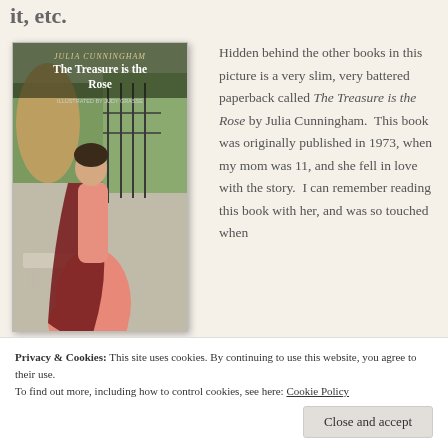it, etc.
[Figure (illustration): Book cover of 'The Treasure is the Rose' by Julia Cunningham, illustrated by Judy Grasse. Shows a woman in a long pink gown with a dark cloak standing in a garden setting with iron gates and trees.]
Hidden behind the other books in this picture is a very slim, very battered paperback called The Treasure is the Rose by Julia Cunningham.  This book was originally published in 1973, when my mom was 11, and she fell in love with the story.  I can remember reading this book with her, and was so touched when
Privacy & Cookies: This site uses cookies. By continuing to use this website, you agree to their use.
To find out more, including how to control cookies, see here: Cookie Policy
Close and accept